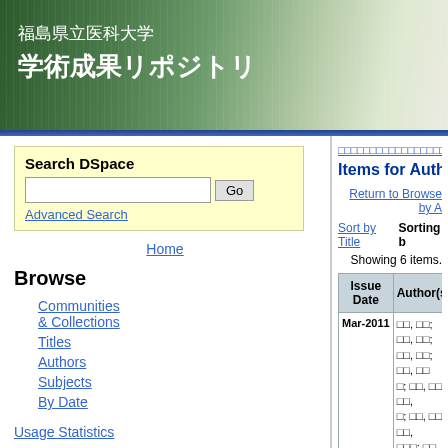[Figure (screenshot): University repository website header with green gradient background showing Japanese text 福島県立医科大学 学術成果リポジトリ]
Search DSpace
Advanced Search
Home
Browse
Communities & Collections
Titles
Authors
Subjects
By Date
Usage Statistics
Help
福島県立医科大学学術成果リポジトリ = Fukushima Medical University Rep
Items for Author "MARUYAMA, Iku
Return to Browse by A
Sort by Title    Sorting b
Showing 6 items.
| Issue Date | Author(s) | Title | S |
| --- | --- | --- | --- |
| Mar-2011 | □□, □□; □□, □□; □□, □□; □□, □□; □□, □□; □□, □□; □□, □□□; □□, □□□; □ | □□□□□□□□□□□□□□□□□□□□□□□□□□□□□(CNCSS)□□□ | □□□□ |